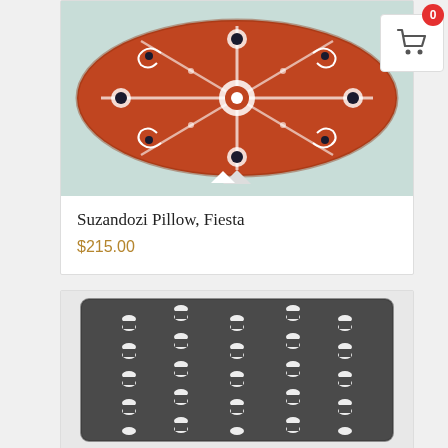[Figure (photo): Red/terracotta decorative pillow with Suzani embroidery pattern featuring medallion and floral motifs in white and dark navy on rust-red background]
Suzandozi Pillow, Fiesta
$215.00
[Figure (photo): Dark charcoal grey decorative pillow with ikat-style pattern of white bowtie/dumbbell shapes arranged in vertical columns]